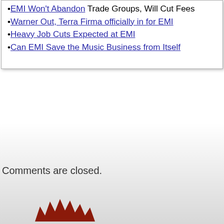EMI Won't Abandon Trade Groups, Will Cut Fees
Warner Out, Terra Firma officially in for EMI
Heavy Job Cuts Expected at EMI
Can EMI Save the Music Business from Itself
Comments are closed.
[Figure (logo): Partial logo or illustration visible at bottom of page]